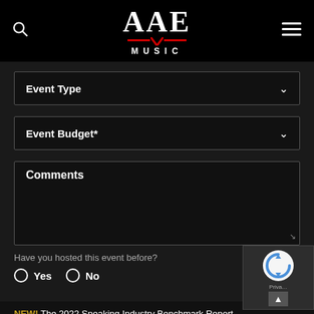[Figure (logo): AAE Music logo with red chevron underline on black background]
Event Type
Event Budget*
Comments
Have you hosted this event before?
Yes
No
NEW! The 2022 Speaking Industry Benchmark Report
SUBMIT REQUEST